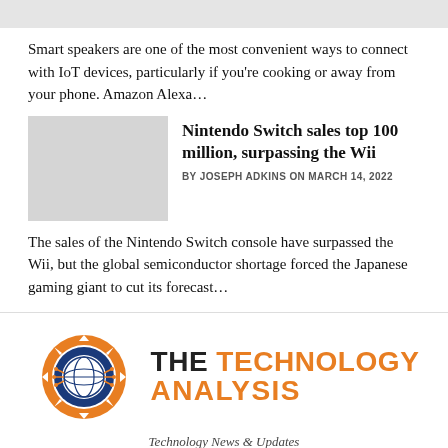[Figure (photo): Gray placeholder image strip at top of page]
Smart speakers are one of the most convenient ways to connect with IoT devices, particularly if you're cooking or away from your phone. Amazon Alexa…
[Figure (photo): Gray placeholder thumbnail image for Nintendo Switch article]
Nintendo Switch sales top 100 million, surpassing the Wii
BY JOSEPH ADKINS ON MARCH 14, 2022
The sales of the Nintendo Switch console have surpassed the Wii, but the global semiconductor shortage forced the Japanese gaming giant to cut its forecast…
[Figure (logo): The Technology Analysis logo — gear icon with globe, orange and dark blue, with text 'THE TECHNOLOGY ANALYSIS' and subtitle 'Technology News & Updates']